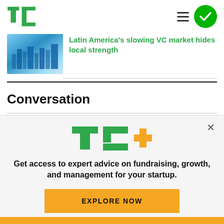TechCrunch logo, hamburger menu, green circle with checkmark
[Figure (photo): Aerial city illustration with blue circuit board and buildings]
Latin America's slowing VC market hides local strength
Conversation
Welcome to TechCrunch comments! Please keep
[Figure (logo): TC+ logo with green TC and yellow plus sign]
Get access to expert advice on fundraising, growth, and management for your startup.
EXPLORE NOW